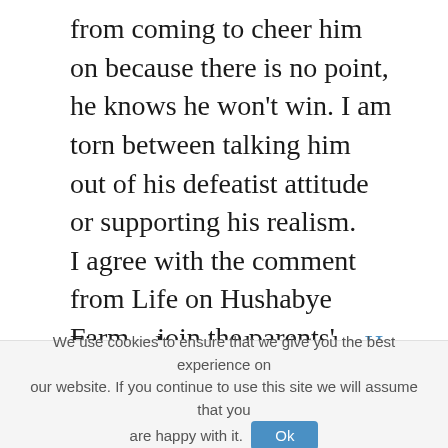from coming to cheer him on because there is no point, he knows he won't win. I am torn between talking him out of his defeatist attitude or supporting his realism. I agree with the comment from Life on Hushabye Farm – join the parents' council. I am on the one for our kindergarten and find it great to have a say in things, although I am usally very reserved and shy. But when it is for the good of the children, I feel I have to speak up.
Fionnuala recently posted…Happy Campers?
We use cookies to ensure that we give you the best experience on our website. If you continue to use this site we will assume that you are happy with it.